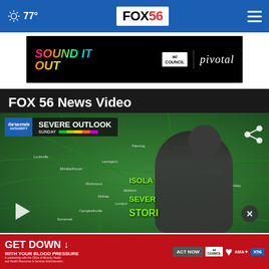FOX 56 — 77°
[Figure (screenshot): Advertisement banner: 'SOUND IT OUT' with ad council and pivotal logos on black background]
FOX 56 News Video
[Figure (screenshot): Weather broadcast video still showing 'SEVERE OUTLOOK SUNDAY' with map of Kentucky/surrounding states in green, meteorologist pointing at map. Text overlays: ISOLA, SEVERE, STORI]
[Figure (screenshot): Advertisement banner: 'GET DOWN WITH YOUR BLOOD PRESSURE' with ACT NOW button, ad council, American Heart Association, AMA logos on red background]